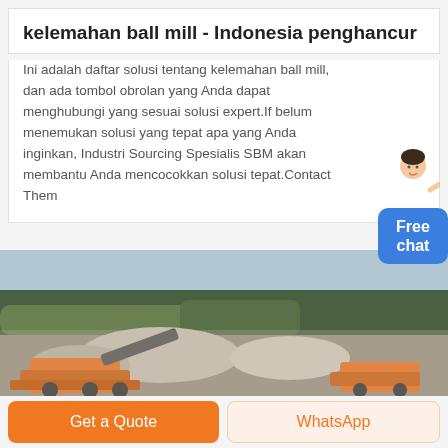kelemahan ball mill - Indonesia penghancur
Ini adalah daftar solusi tentang kelemahan ball mill, dan ada tombol obrolan yang Anda dapat menghubungi yang sesuai solusi expert.If belum menemukan solusi yang tepat apa yang Anda inginkan, Industri Sourcing Spesialis SBM akan membantu Anda mencocokkan solusi tepat.Contact Them
[Figure (photo): Aerial view of a quarry or mining site with orange crushing machinery in the foreground and a forested landscape in the background]
Get a Quote
WhatsApp